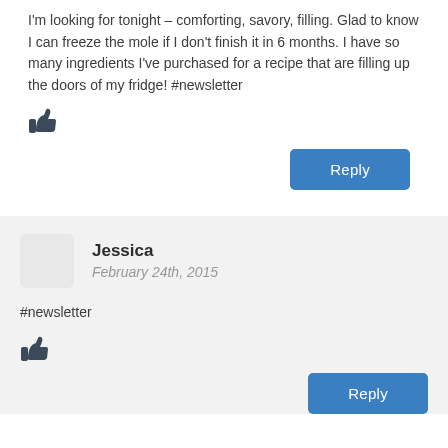I'm looking for tonight – comforting, savory, filling. Glad to know I can freeze the mole if I don't finish it in 6 months. I have so many ingredients I've purchased for a recipe that are filling up the doors of my fridge! #newsletter
[Figure (illustration): Thumbs up icon]
Reply
Jessica
February 24th, 2015
#newsletter
[Figure (illustration): Thumbs up icon]
Reply